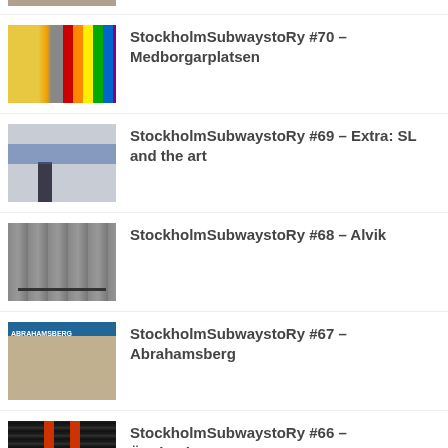StockholmSubwaystoRy #70 – Medborgarplatsen
StockholmSubwaystoRy #69 – Extra: SL and the art
StockholmSubwaystoRy #68 – Alvik
StockholmSubwaystoRy #67 – Abrahamsberg
StockholmSubwaystoRy #66 – Ängbyplan
StockholmSubwaystoRy #65 – Extra: